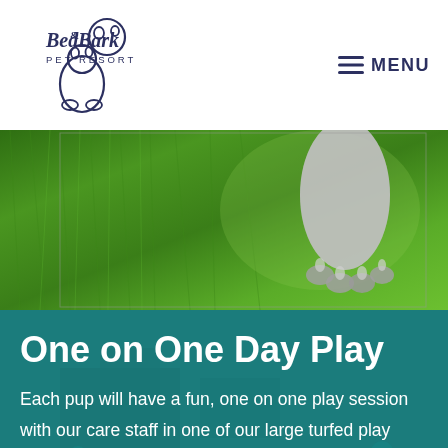Bed & Bark Pet Resort — MENU
[Figure (photo): Close-up photo of a dog paw on bright green grass turf]
One on One Day Play
Each pup will have a fun, one on one play session with our care staff in one of our large turfed play yards. Bed & Bark currently offers individual Day Play, rather than group play. This allows us to safely welcome dogs of all personality types for a